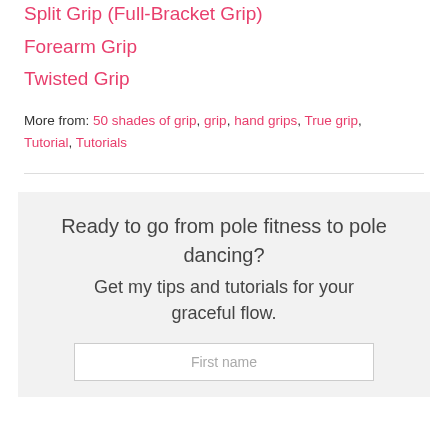Split Grip (Full-Bracket Grip)
Forearm Grip
Twisted Grip
More from: 50 shades of grip, grip, hand grips, True grip, Tutorial, Tutorials
Ready to go from pole fitness to pole dancing?
Get my tips and tutorials for your graceful flow.
First name